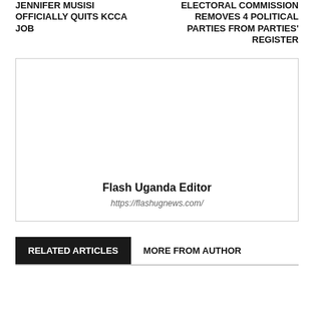JENNIFER MUSISI OFFICIALLY QUITS KCCA JOB
ELECTORAL COMMISSION REMOVES 4 POLITICAL PARTIES FROM PARTIES' REGISTER
Flash Uganda Editor
https://flashugnews.com/
RELATED ARTICLES
MORE FROM AUTHOR